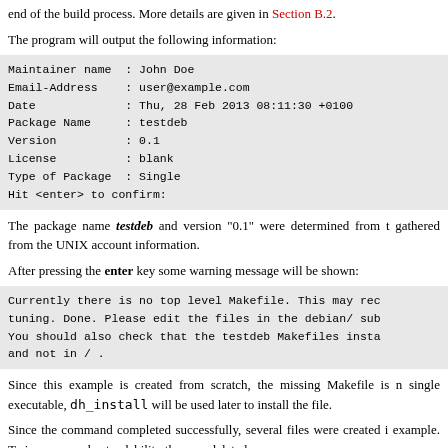end of the build process. More details are given in Section B.2.
The program will output the following information:
Maintainer name  : John Doe
Email-Address    : user@example.com
Date             : Thu, 28 Feb 2013 08:11:30 +0100
Package Name     : testdeb
Version          : 0.1
License          : blank
Type of Package  : Single
Hit <enter> to confirm:
The package name testdeb and version "0.1" were determined from t gathered from the UNIX account information.
After pressing the enter key some warning message will be shown:
Currently there is no top level Makefile. This may rec tuning. Done. Please edit the files in the debian/ sub You should also check that the testdeb Makefiles insta and not in / .
Since this example is created from scratch, the missing Makefile is n single executable, dh_install will be used later to install the file.
Since the command completed successfully, several files were created i example. To improve understandability they are deleted:
rm debian/*.ex debian/*.EX
rm debian/README* debian/doc